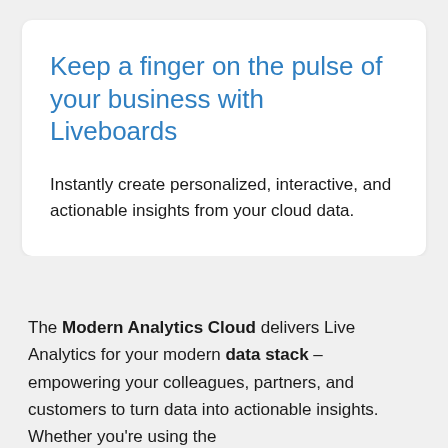Keep a finger on the pulse of your business with Liveboards
Instantly create personalized, interactive, and actionable insights from your cloud data.
The Modern Analytics Cloud delivers Live Analytics for your modern data stack – empowering your colleagues, partners, and customers to turn data into actionable insights. Whether you're using the